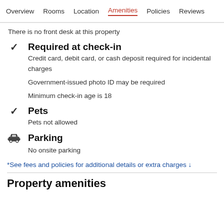Overview   Rooms   Location   Amenities   Policies   Reviews
There is no front desk at this property
Required at check-in
Credit card, debit card, or cash deposit required for incidental charges
Government-issued photo ID may be required
Minimum check-in age is 18
Pets
Pets not allowed
Parking
No onsite parking
*See fees and policies for additional details or extra charges ↓
Property amenities